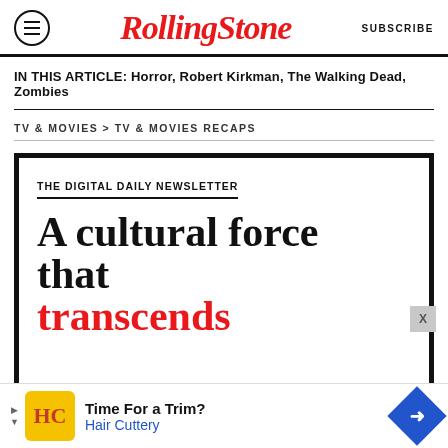Rolling Stone | SUBSCRIBE
IN THIS ARTICLE: Horror, Robert Kirkman, The Walking Dead, Zombies
TV & MOVIES > TV & MOVIES RECAPS
THE DIGITAL DAILY NEWSLETTER
A cultural force that transcends
[Figure (other): Advertisement banner: Time For a Trim? Hair Cuttery]